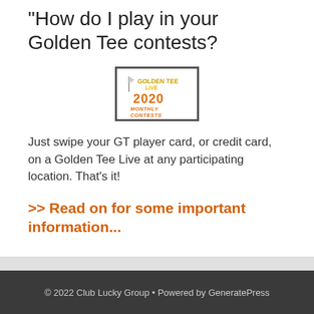“How do I play in your Golden Tee contests?
[Figure (logo): Golden Tee Live 2020 Monthly Contests logo — white background with dark gray border, 'GOLDEN TEE LIVE' text in gold/white stylized font, '2020' in orange bold text, 'MONTHLY CONTESTS' in orange bold italic text]
Just swipe your GT player card, or credit card, on a Golden Tee Live at any participating location. That’s it!
>> Read on for some important information...
© 2022 Club Lucky Group • Powered by GeneratePress